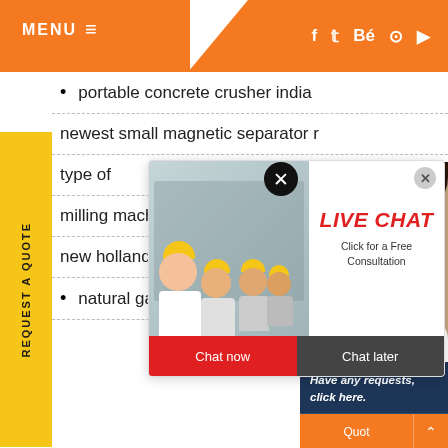MENU ≡ | f  t  Be  ⊙  ▶
portable concrete crusher india
newest small magnetic separator r
type of
milling machines grinding
new holland horizontal shaft impac
natural gas fuel burning kiln
[Figure (screenshot): Live chat popup with workers in yellow helmets. Title: LIVE CHAT, subtitle: Click for a Free Consultation. Buttons: Chat now (red), Chat later (dark)]
[Figure (screenshot): Right sidebar panel on dark blue background with text: Have any requests, click here. Buttons: Quote (orange), Enquiry, drobilkalm. Woman with headset visible on right side.]
REQUEST A QUOTE (vertical sidebar)